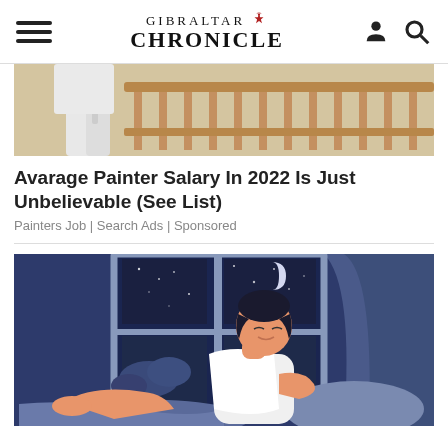GIBRALTAR CHRONICLE
[Figure (photo): Cropped photo of a painter in white overalls near wooden railings]
Avarage Painter Salary In 2022 Is Just Unbelievable (See List)
Painters Job | Search Ads | Sponsored
[Figure (illustration): Illustrated image of a man in a white tank top sitting near a window at night with moon and clouds visible]